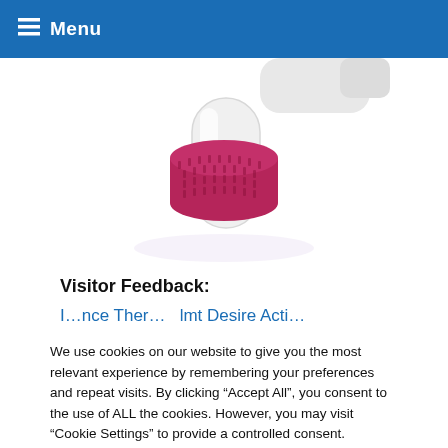Menu
[Figure (photo): A derma roller (microneedling device) with a pink/magenta spiked roller head and white handle, held in a gloved hand, partially cropped at the top of the page against a white background.]
Visitor Feedback:
I…nce Ther…duced…lmt…Desire Acti…
We use cookies on our website to give you the most relevant experience by remembering your preferences and repeat visits. By clicking “Accept All”, you consent to the use of ALL the cookies. However, you may visit "Cookie Settings" to provide a controlled consent.
Cookie Settings | Accept All